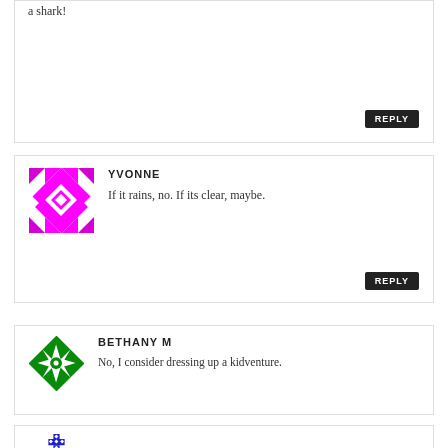a shark!
REPLY
[Figure (illustration): Magenta/pink geometric quilt-pattern avatar for Yvonne]
YVONNE
If it rains, no. If its clear, maybe.
REPLY
[Figure (illustration): Green geometric quilt-pattern avatar for Bethany M]
BETHANY M
No, I consider dressing up a kidventure.
REPLY
[Figure (illustration): Blue and white geometric cross-pattern avatar (partial, cut off at bottom)]